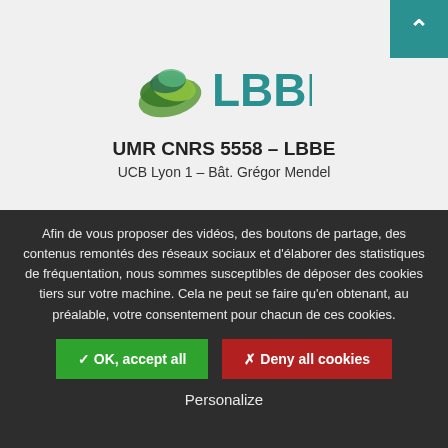[Figure (logo): LBBE logo with green leaf graphic and teal LBBE text]
UMR CNRS 5558 – LBBE
UCB Lyon 1 – Bât. Grégor Mendel
Afin de vous proposer des vidéos, des boutons de partage, des contenus remontés des réseaux sociaux et d'élaborer des statistiques de fréquentation, nous sommes susceptibles de déposer des cookies tiers sur votre machine. Cela ne peut se faire qu'en obtenant, au préalable, votre consentement pour chacun de ces cookies.
✓ OK, accept all
✗ Deny all cookies
Personalize